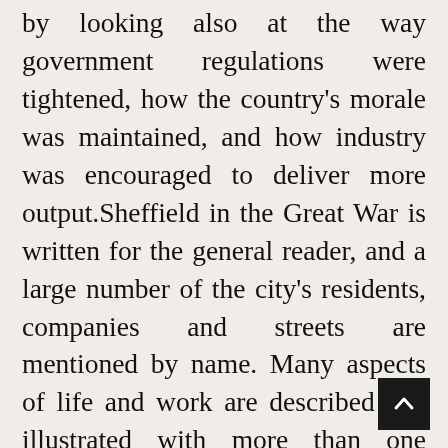by looking also at the way government regulations were tightened, how the country's morale was maintained, and how industry was encouraged to deliver more output.Sheffield in the Great War is written for the general reader, and a large number of the city's residents, companies and streets are mentioned by name. Many aspects of life and work are described and illustrated with more than one hundred original photographs. Numerous advertisements and excerpts are presented from the city's wartime newspapers, and highlighted Display Boxes in every chap summarize particularly interesting or quirky themes. For more specialist readers,